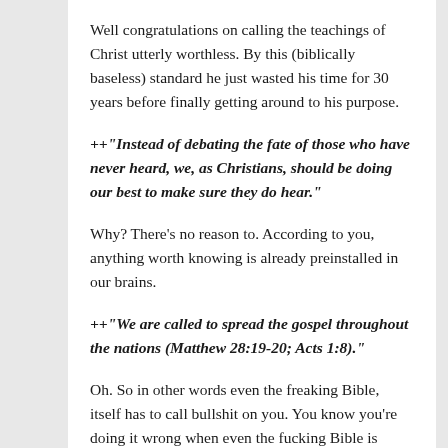Well congratulations on calling the teachings of Christ utterly worthless. By this (biblically baseless) standard he just wasted his time for 30 years before finally getting around to his purpose.
++"Instead of debating the fate of those who have never heard, we, as Christians, should be doing our best to make sure they do hear."
Why? There's no reason to. According to you, anything worth knowing is already preinstalled in our brains.
++"We are called to spread the gospel throughout the nations (Matthew 28:19-20; Acts 1:8)."
Oh. So in other words even the freaking Bible, itself has to call bullshit on you. You know you're doing it wrong when even the fucking Bible is operating closer to reality than